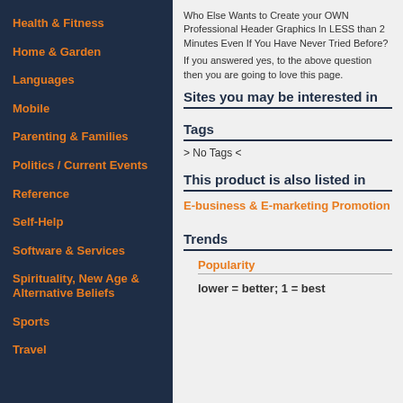Health & Fitness
Home & Garden
Languages
Mobile
Parenting & Families
Politics / Current Events
Reference
Self-Help
Software & Services
Spirituality, New Age & Alternative Beliefs
Sports
Travel
Who Else Wants to Create your OWN Professional Header Graphics In LESS than 2 Minutes Even If You Have Never Tried Before?
If you answered yes, to the above question then you are going to love this page.
Sites you may be interested in
Tags
> No Tags <
This product is also listed in
E-business & E-marketing Promotion
Trends
Popularity
lower = better; 1 = best